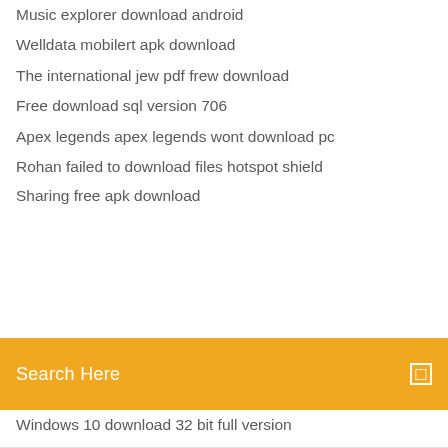Music explorer download android
Welldata mobilert apk download
The international jew pdf frew download
Free download sql version 706
Apex legends apex legends wont download pc
Rohan failed to download files hotspot shield
[Figure (screenshot): Orange search bar with text 'Search Here' and a small square icon on the right]
Windows 10 download 32 bit full version
Carl sims m and m man torrent downloads
Torrent hide download complete notifications
Merry christmas gif images download
Xcom free download pc
Red alert 2 download full version crack
Pc-mg32mb-h nec driver download
Michael bolton concert video torrent cd download